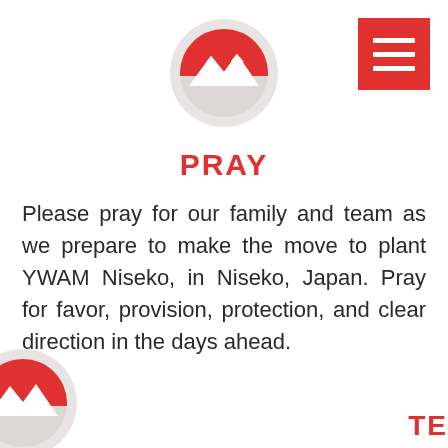[Figure (logo): Circular logo with red semicircle at top and white mountain/snow silhouette below, on light gray circle background — YWAM Niseko logo]
[Figure (other): Red square hamburger menu button with three white horizontal lines]
PRAY
Please pray for our family and team as we prepare to make the move to plant YWAM Niseko, in Niseko, Japan. Pray for favor, provision, protection, and clear direction in the days ahead.
[Figure (logo): Partial YWAM Niseko circular logo visible at bottom-left corner of page]
TE